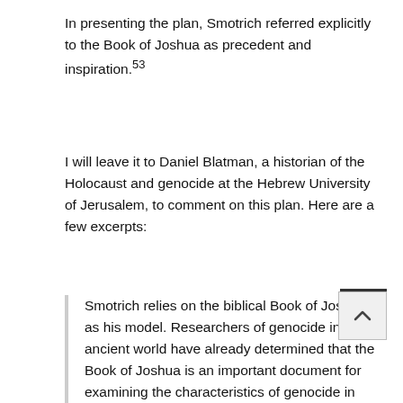In presenting the plan, Smotrich referred explicitly to the Book of Joshua as precedent and inspiration.53
I will leave it to Daniel Blatman, a historian of the Holocaust and genocide at the Hebrew University of Jerusalem, to comment on this plan. Here are a few excerpts:
Smotrich relies on the biblical Book of Joshua as his model. Researchers of genocide in the ancient world have already determined that the Book of Joshua is an important document for examining the characteristics of genocide in the ancient world…. [It] describes actions that were explicitly defined as genocide in the 1948 UN Convention on the Prevention and Punishment of the Crime of Genocide….